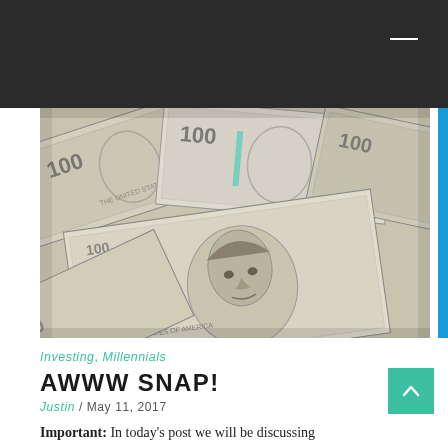[Figure (photo): Close-up photo of multiple overlapping US $100 dollar bills, showing faces and numerals, in grayscale tones with slight teal/green security strip visible.]
Investing, Millennials
AWWW SNAP!
Justin / May 11, 2017
Important: In today's post we will be discussing